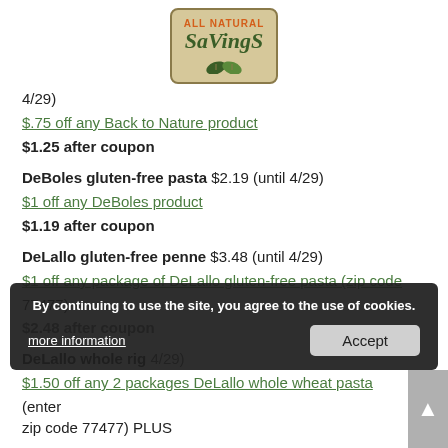[Figure (logo): All Natural Savings logo: tan/beige rounded rectangle with orange text 'ALL NATURAL' and dark green italic 'SaVingS' with leaf graphics]
4/29)
$.75 off any Back to Nature product
$1.25 after coupon
DeBoles gluten-free pasta $2.19 (until 4/29)
$1 off any DeBoles product
$1.19 after coupon
DeLallo gluten-free penne $3.48 (until 4/29)
$1 off any package of DeLallo gluten-free pasta (zip code 77477)
$2.48 after coupon
DeLallo whole [wheat] rig[atoni] (until 4/29)
$1.50 off any 2 packages DeLallo whole wheat pasta (enter zip code 77477) PLUS